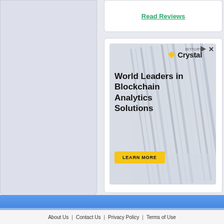Read Reviews
[Figure (illustration): Bitfury Crystal blockchain analytics advertisement showing abstract building lines background with Crystal logo (diamond icon), headline 'World Leaders in Blockchain Analytics Solutions', and a yellow LEARN MORE button]
About Us | Contact Us | Privacy Policy | Terms of Use